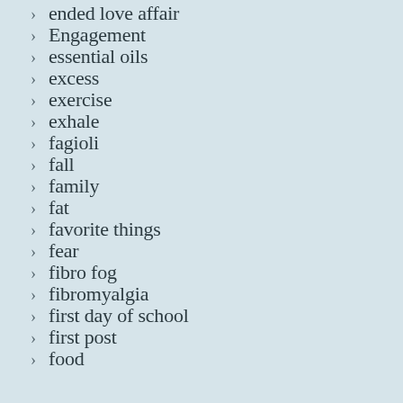ended love affair
Engagement
essential oils
excess
exercise
exhale
fagioli
fall
family
fat
favorite things
fear
fibro fog
fibromyalgia
first day of school
first post
food